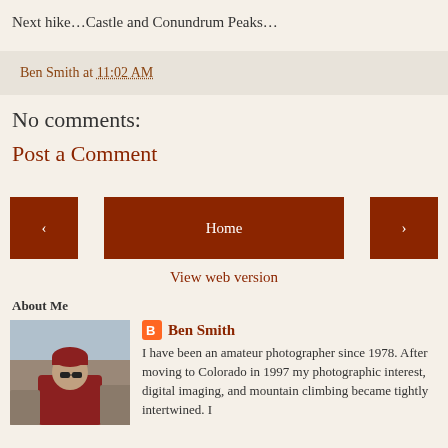Next hike…Castle and Conundrum Peaks…
Ben Smith at 11:02 AM
No comments:
Post a Comment
< Home >
View web version
About Me
[Figure (photo): Profile photo of Ben Smith outdoors in red jacket and beanie hat]
Ben Smith
I have been an amateur photographer since 1978. After moving to Colorado in 1997 my photographic interest, digital imaging, and mountain climbing became tightly intertwined. I